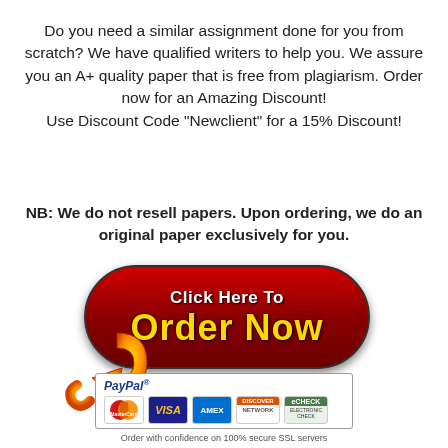Do you need a similar assignment done for you from scratch? We have qualified writers to help you. We assure you an A+ quality paper that is free from plagiarism. Order now for an Amazing Discount! Use Discount Code "Newclient" for a 15% Discount!
NB: We do not resell papers. Upon ordering, we do an original paper exclusively for you.
[Figure (infographic): Red pill-shaped button with text 'Click Here To ORDER NOW' in white and gold, with an orange arrow graphic below-left and a PayPal payment methods box showing MasterCard, VISA, AMEX, DISCOVER, eCheck cards. Below reads 'Order with confidence on 100% secure SSL servers'.]